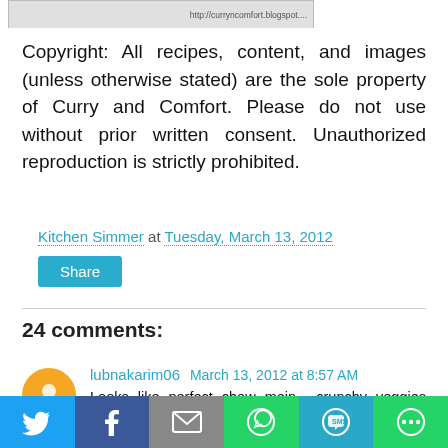[Figure (photo): Partial image strip at top of page showing a dish with a URL watermark]
Copyright: All recipes, content, and images (unless otherwise stated) are the sole property of Curry and Comfort. Please do not use without prior written consent. Unauthorized reproduction is strictly prohibited.
Kitchen Simmer at Tuesday, March 13, 2012
24 comments:
lubnakarim06  March 13, 2012 at 8:57 AM
Looks like perfect chow mein.....crunchy veggies and soft chicken....yum....
[Figure (infographic): Social share bar with Twitter, Facebook, Email, WhatsApp, SMS, and More buttons]